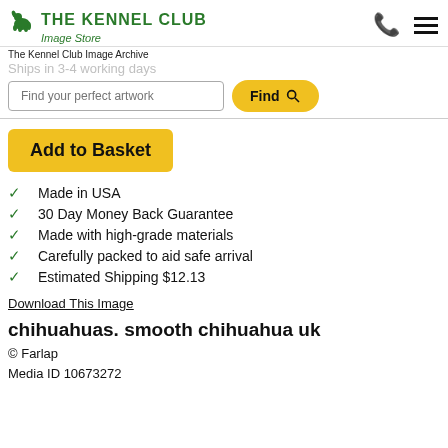THE KENNEL CLUB Image Store
The Kennel Club Image Archive
Ships in 3-4 working days
Find your perfect artwork
Add to Basket
Made in USA
30 Day Money Back Guarantee
Made with high-grade materials
Carefully packed to aid safe arrival
Estimated Shipping $12.13
Download This Image
chihuahuas. smooth chihuahua uk
© Farlap
Media ID 10673272